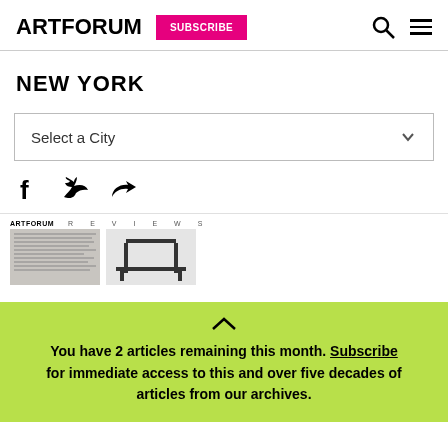ARTFORUM SUBSCRIBE
NEW YORK
Select a City
[Figure (screenshot): Social share icons: Facebook, Twitter, Share/forward arrow]
[Figure (screenshot): Artforum Reviews magazine strip with small logo and letter-spaced REVIEWS text, with two preview images below]
You have 2 articles remaining this month. Subscribe for immediate access to this and over five decades of articles from our archives.